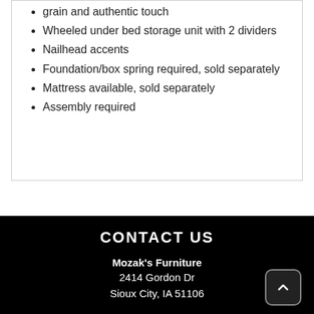grain and authentic touch
Wheeled under bed storage unit with 2 dividers
Nailhead accents
Foundation/box spring required, sold separately
Mattress available, sold separately
Assembly required
CONTACT US
Mozak's Furniture
2414 Gordon Dr
Sioux City, IA 51106